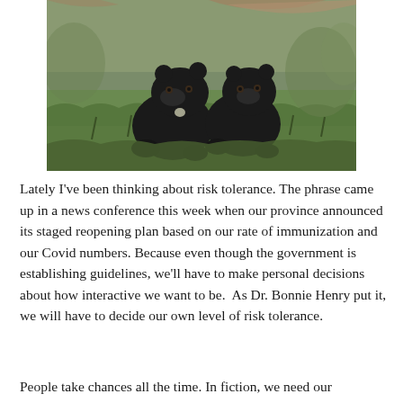[Figure (photo): Two black bear cubs standing on grass with fallen logs and foliage in the background.]
Lately I've been thinking about risk tolerance. The phrase came up in a news conference this week when our province announced its staged reopening plan based on our rate of immunization and our Covid numbers. Because even though the government is establishing guidelines, we'll have to make personal decisions about how interactive we want to be.  As Dr. Bonnie Henry put it, we will have to decide our own level of risk tolerance.
People take chances all the time. In fiction, we need our